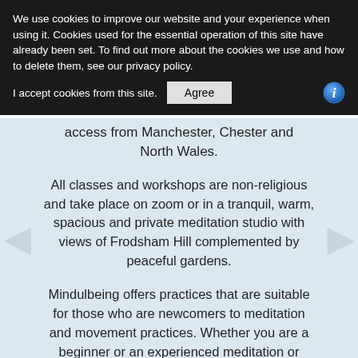We use cookies to improve our website and your experience when using it. Cookies used for the essential operation of this site have already been set. To find out more about the cookies we use and how to delete them, see our privacy policy.
I accept cookies from this site.  [Agree]
access from Manchester, Chester and North Wales.
All classes and workshops are non-religious and take place on zoom or in a tranquil, warm, spacious and private meditation studio with views of Frodsham Hill complemented by peaceful gardens.
Mindulbeing offers practices that are suitable for those who are newcomers to meditation and movement practices. Whether you are a beginner or an experienced meditation or movement practitioner, Mindfulbeing offers opportunities to slow down and experience moments of stillness while actively engaging in your own health and wellbeing. All classes take place on zoom or in a friendly, supportive and peaceful environment.